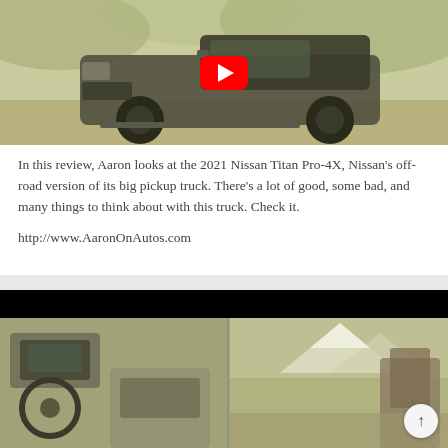[Figure (screenshot): A YouTube video thumbnail showing a 2021 Nissan Titan Pro-4X pickup truck in a desert/off-road setting, with a red YouTube play button overlay in the center.]
In this review, Aaron looks at the 2021 Nissan Titan Pro-4X, Nissan's off-road version of its big pickup truck. There's a lot of good, some bad, and many things to think about with this truck. Check it.
http://www.AaronOnAutos.com
[Figure (screenshot): A partially visible video thumbnail with a black bar at the top and a yellowish-green tinted image below showing an interior dashboard view on the left and a mountain/cliff scene on the right.]